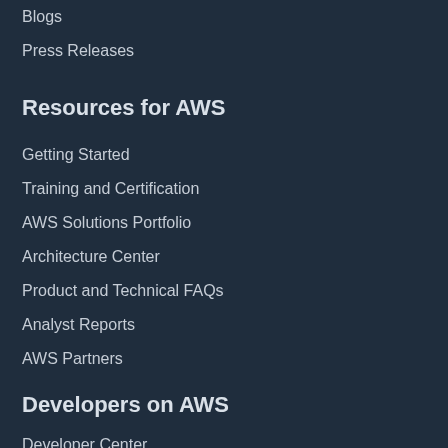Blogs
Press Releases
Resources for AWS
Getting Started
Training and Certification
AWS Solutions Portfolio
Architecture Center
Product and Technical FAQs
Analyst Reports
AWS Partners
Developers on AWS
Developer Center
SDKs & Tools
.NET on AWS